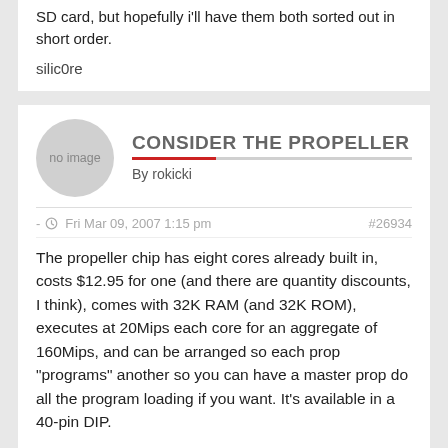SD card, but hopefully i'll have them both sorted out in short order.
silic0re
CONSIDER THE PROPELLER
By rokicki
- Fri Mar 09, 2007 1:15 pm   #26934
The propeller chip has eight cores already built in, costs $12.95 for one (and there are quantity discounts, I think), comes with 32K RAM (and 32K ROM), executes at 20Mips each core for an aggregate of 160Mips, and can be arranged so each prop "programs" another so you can have a master prop do all the program loading if you want. It's available in a 40-pin DIP.
Each chip has 32 GPIOs that can be used to implement whatever sort of interprocessor communication you might